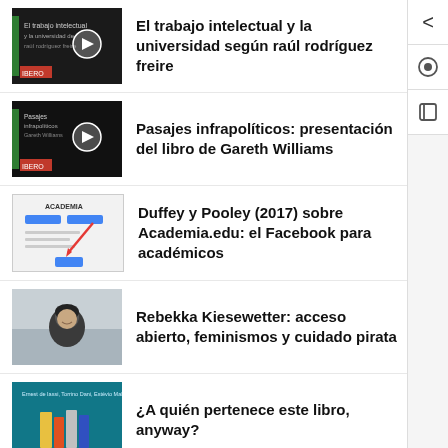El trabajo intelectual y la universidad según raúl rodríguez freire
Pasajes infrapolíticos: presentación del libro de Gareth Williams
Duffey y Pooley (2017) sobre Academia.edu: el Facebook para académicos
Rebekka Kiesewetter: acceso abierto, feminismos y cuidado pirata
¿A quién pertenece este libro, anyway?